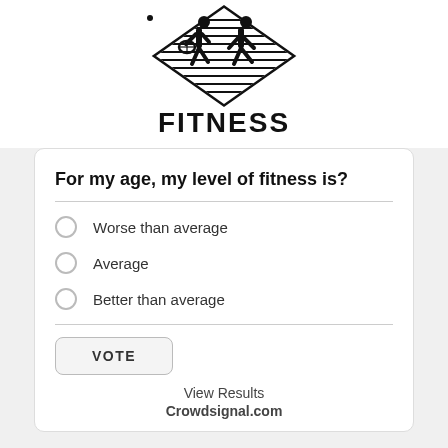[Figure (logo): Fitness logo: two athletic figures (one playing tennis, one running) above and inside a diamond shape with horizontal stripes, with the word FITNESS in bold block letters below]
For my age, my level of fitness is?
Worse than average
Average
Better than average
VOTE
View Results
Crowdsignal.com